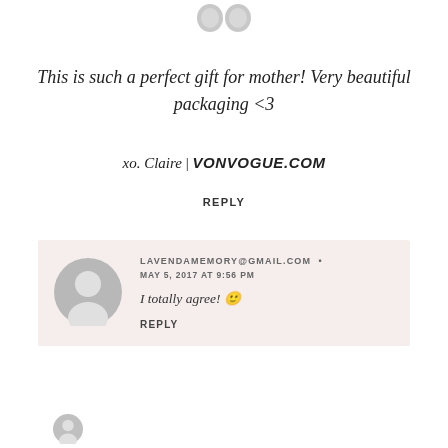[Figure (illustration): Grey placeholder avatar icon (person silhouette) at top of page]
This is such a perfect gift for mother! Very beautiful packaging <3
xo. Claire | VONVOGUE.COM
REPLY
LAVENDAMEMORY@GMAIL.COM .
MAY 5, 2017 AT 9:56 PM
I totally agree! 🙂
REPLY
[Figure (illustration): Grey placeholder avatar icon at bottom of page]